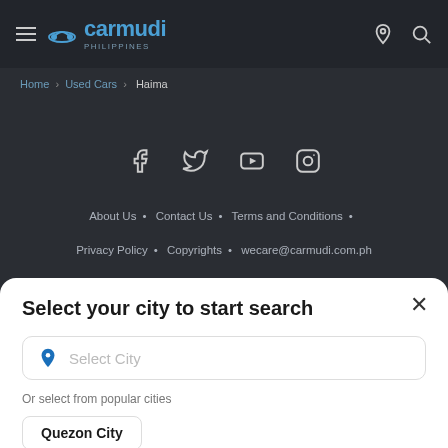Carmudi Philippines
Home > Used Cars > Haima
[Figure (screenshot): Social media icons: Facebook, Twitter, YouTube, Instagram]
About Us * Contact Us * Terms and Conditions *
Privacy Policy * Copyrights * wecare@carmudi.com.ph
Select your city to start search
Select City
Or select from popular cities
Quezon City